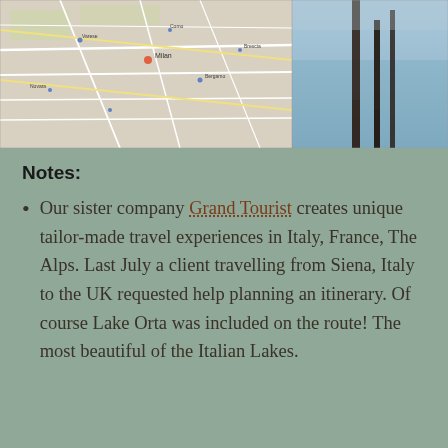[Figure (map): Road map showing northern Italy region including Milan and surrounding cities]
[Figure (photo): Minimalist photo of dark vertical reeds or posts reflected in calm blue water, likely Lake Orta]
Notes:
Our sister company Grand Tourist creates unique tailor-made travel experiences in Italy, France, The Alps. Last July a client travelling from Siena, Italy to the UK requested help planning an itinerary. Of course Lake Orta was included on the route! The most beautiful of the Italian Lakes.